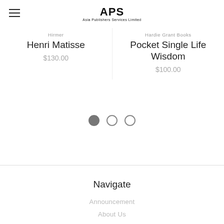APS Asia Publishers Services Limited
Hirmer
Henri Matisse
$130.00
Hardie Grant Books
Pocket Single Life Wisdom
$100.00
[Figure (other): Pagination dots: three circles, first one filled (active), two empty]
Navigate
Announcement
About Us
Shipping & Returns